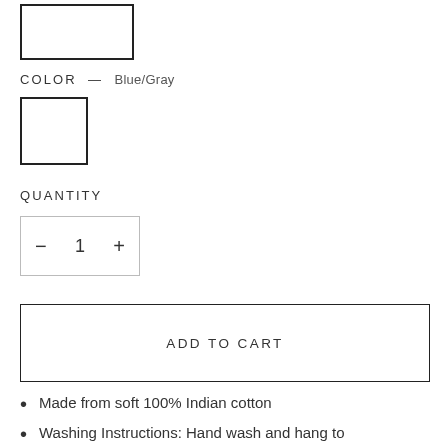[Figure (other): A small rectangular box outline at the top left, representing a selected size or option swatch.]
COLOR — Blue/Gray
[Figure (other): A square color swatch box outline representing the Blue/Gray color option.]
QUANTITY
[Figure (other): Quantity selector control with minus button, number 1, and plus button inside a bordered rectangle.]
[Figure (other): ADD TO CART button — a wide bordered rectangle button.]
Made from soft 100% Indian cotton
Washing Instructions: Hand wash and hang to